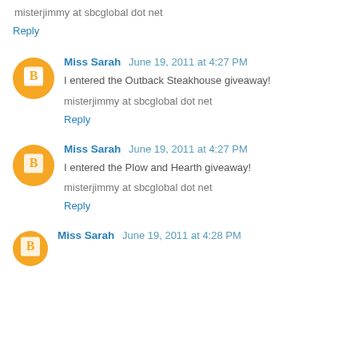misterjimmy at sbcglobal dot net
Reply
Miss Sarah  June 19, 2011 at 4:27 PM
I entered the Outback Steakhouse giveaway!
misterjimmy at sbcglobal dot net
Reply
Miss Sarah  June 19, 2011 at 4:27 PM
I entered the Plow and Hearth giveaway!
misterjimmy at sbcglobal dot net
Reply
Miss Sarah  June 19, 2011 at 4:28 PM